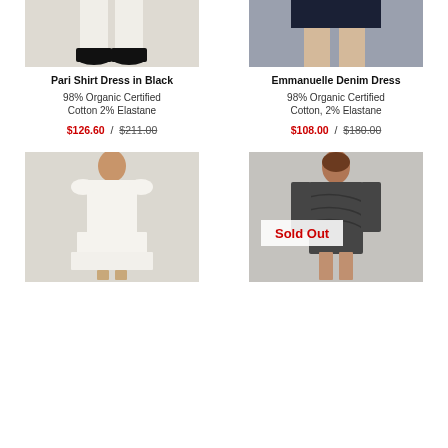[Figure (photo): Bottom portion of model wearing black shoes with white dress, cropped at shins]
[Figure (photo): Bottom portion of model wearing a navy denim dress, cropped at upper thighs]
Pari Shirt Dress in Black
98% Organic Certified Cotton 2% Elastane
$126.60 / $211.00
Emmanuelle Denim Dress
98% Organic Certified Cotton, 2% Elastane
$108.00 / $180.00
[Figure (photo): Model wearing a white midi dress with ruffled cap sleeves and tiered skirt, full length shot]
[Figure (photo): Model wearing a dark grey patterned shift dress with long sleeves, with Sold Out badge overlay]